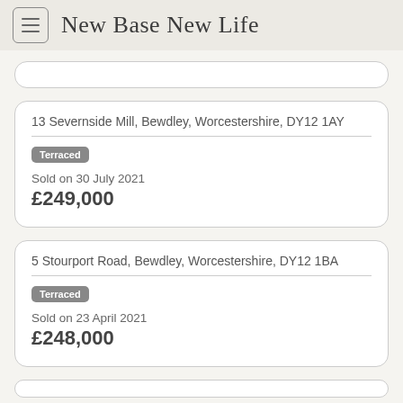New Base New Life
13 Severnside Mill, Bewdley, Worcestershire, DY12 1AY
Terraced
Sold on 30 July 2021
£249,000
5 Stourport Road, Bewdley, Worcestershire, DY12 1BA
Terraced
Sold on 23 April 2021
£248,000